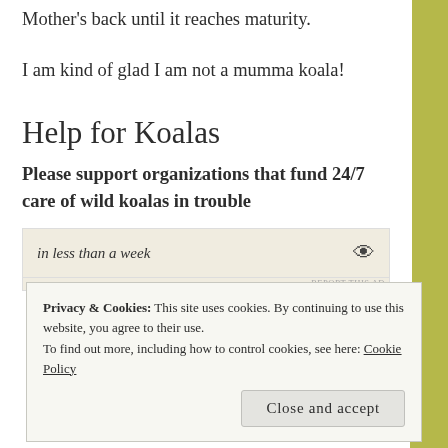Mother's back until it reaches maturity.
I am kind of glad I am not a mumma koala!
Help for Koalas
Please support organizations that fund 24/7 care of wild koalas in trouble
[Figure (screenshot): Ad banner showing text 'in less than a week' with an icon, and 'REPORT THIS AD' label]
Privacy & Cookies: This site uses cookies. By continuing to use this website, you agree to their use.
To find out more, including how to control cookies, see here: Cookie Policy